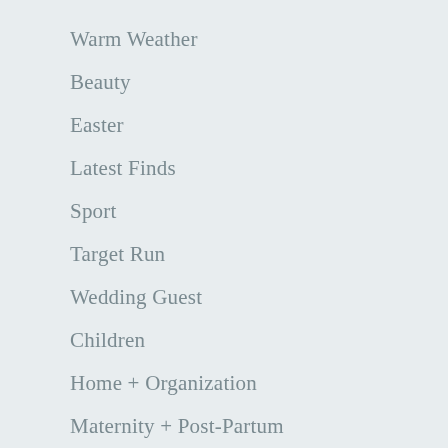Warm Weather
Beauty
Easter
Latest Finds
Sport
Target Run
Wedding Guest
Children
Home + Organization
Maternity + Post-Partum
LiketoKnowIt Posts
Subscribe
Terms of Use